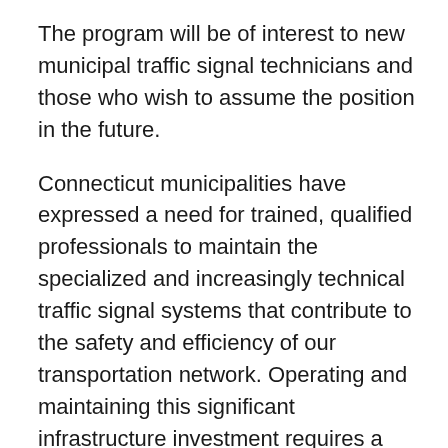The program will be of interest to new municipal traffic signal technicians and those who wish to assume the position in the future.
Connecticut municipalities have expressed a need for trained, qualified professionals to maintain the specialized and increasingly technical traffic signal systems that contribute to the safety and efficiency of our transportation network. Operating and maintaining this significant infrastructure investment requires a force of municipal personnel with sound training in the fundamentals of traffic signal maintenance procedures and techniques. The Connecticut Traffic Signal Technician Program will provide an opportunity for municipal traffic signal technicians to receive this specialized training.
Those who complete the Traffic Signal Technician I and